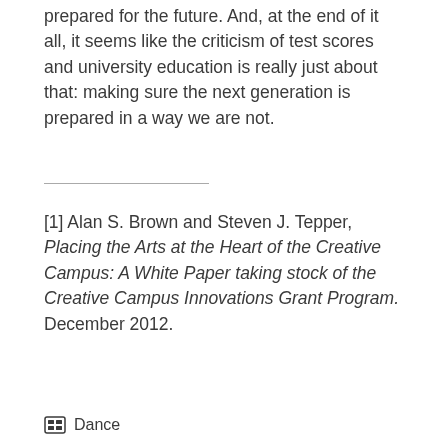prepared for the future. And, at the end of it all, it seems like the criticism of test scores and university education is really just about that: making sure the next generation is prepared in a way we are not.
[1] Alan S. Brown and Steven J. Tepper, Placing the Arts at the Heart of the Creative Campus: A White Paper taking stock of the Creative Campus Innovations Grant Program. December 2012.
Dance